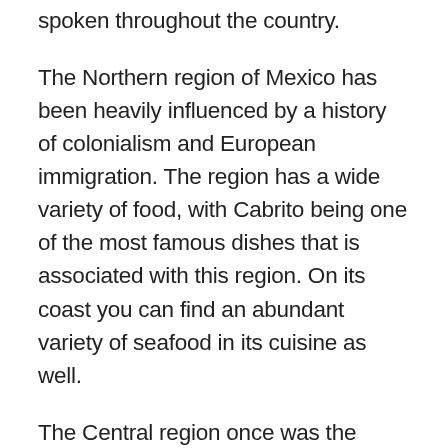spoken throughout the country.
The Northern region of Mexico has been heavily influenced by a history of colonialism and European immigration. The region has a wide variety of food, with Cabrito being one of the most famous dishes that is associated with this region. On its coast you can find an abundant variety of seafood in its cuisine as well.
The Central region once was the home of the Aztecs with its capital being Tenochtitlan. Now it is the location of Mexico’s capital Mexico City. Some of the cuisine best recognized from this region include carnitas, arroz con leche, barbacoa, and chalupas.